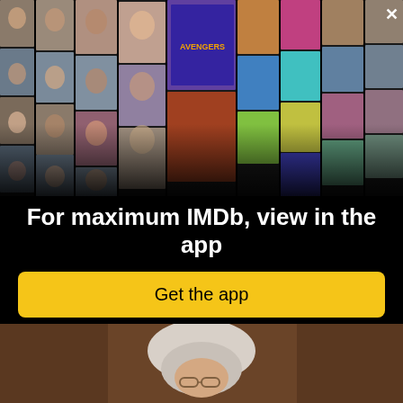[Figure (photo): IMDb app promotional collage showing a perspective grid of celebrity photos and movie posters with an X close button in the top right corner]
For maximum IMDb, view in the app
Get the app
[Figure (photo): Bottom portion showing a person with white/grey curly hair and glasses in what appears to be a scene from a movie or TV show]